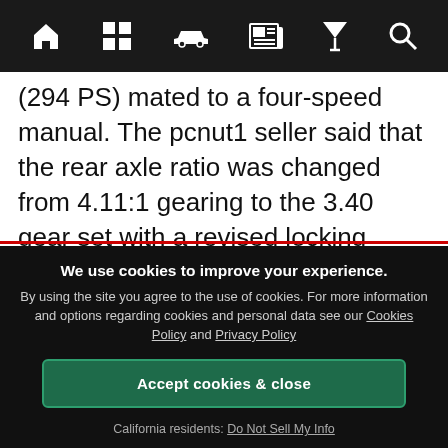Navigation bar with home, grid, car, news, filter, search icons
(294 PS) mated to a four-speed manual. The pcnut1 seller said that the rear axle ratio was changed from 4.11:1 gearing to the 3.40 gear set with a revised locking differential, which should be good for drag racing. This is also not a standard part, which might disturb the buyer. Also, the four-speed Muncie was replaced. That
We use cookies to improve your experience. By using the site you agree to the use of cookies. For more information and options regarding cookies and personal data see our Cookies Policy and Privacy Policy
Accept cookies & close
California residents: Do Not Sell My Info